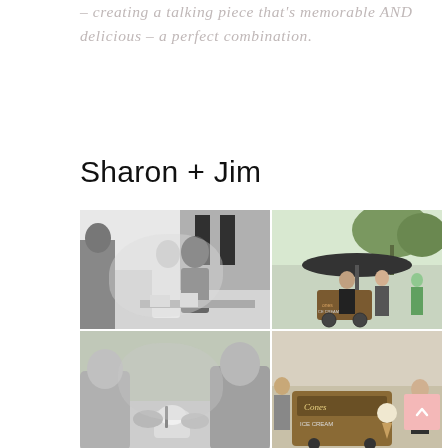– creating a talking piece that's memorable AND delicious – a perfect combination.
Sharon + Jim
[Figure (photo): Four wedding event photos in a 2x2 grid. Top left: black and white photo of bride and groom at an ice cream service event. Top right: color photo of people at an outdoor event with an umbrella and ice cream cart. Bottom left: black and white close-up of people holding ice cream cones. Bottom right: color photo of people around a 'Cones Ice Cream' branded cart outdoors.]